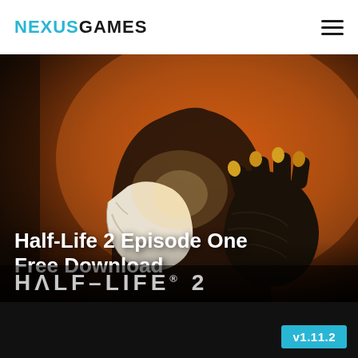NEXUSGAMES
[Figure (screenshot): Half-Life 2 game cover art showing a character in an orange/brown toned action scene with armored hands reaching forward]
Half-Life 2 Episode One Free Download
HALF-LIFE 2
v1.11.2